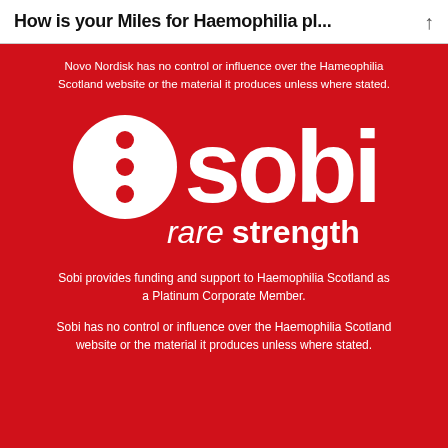How is your Miles for Haemophilia pl...
Novo Nordisk has no control or influence over the Hameophilia Scotland website or the material it produces unless where stated.
[Figure (logo): Sobi logo — white circle with three red dots on left side, and the word 'sobi' in white bold letters, with tagline 'rare strength' below]
Sobi provides funding and support to Haemophilia Scotland as a Platinum Corporate Member.
Sobi has no control or influence over the Haemophilia Scotland website or the material it produces unless where stated.